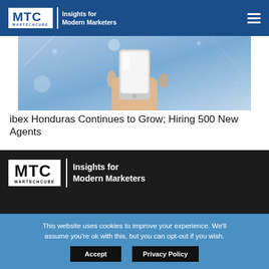MTC MARTECHCUBE | Insights for Modern Marketers
[Figure (photo): Hand holding a smartphone against a light blue background with bokeh light effects]
ibex Honduras Continues to Grow; Hiring 500 New Agents
[Figure (logo): MTC MARTECHCUBE logo — Insights for Modern Marketers — white on dark background]
This website uses cookies to improve your experience. We'll assume you're ok with this, but you can opt-out if you wish.
Accept   Privacy Policy